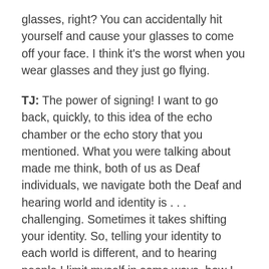glasses, right? You can accidentally hit yourself and cause your glasses to come off your face. I think it's the worst when you wear glasses and they just go flying.
TJ: The power of signing! I want to go back, quickly, to this idea of the echo chamber or the echo story that you mentioned. What you were talking about made me think, both of us as Deaf individuals, we navigate both the Deaf and hearing world and identity is . . . challenging. Sometimes it takes shifting your identity. So, telling your identity to each world is different, and to hearing people I limit myself in some ways, how I frame or represent myself, I make sure that I repeat myself clearly so that I am understood correctly.